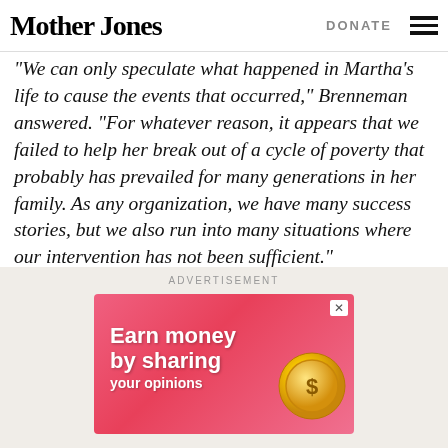Mother Jones | DONATE
“We can only speculate what happened in Martha’s life to cause the events that occurred,” Brenneman answered. “For whatever reason, it appears that we failed to help her break out of a cycle of poverty that probably has prevailed for many generations in her family. As any organization, we have many success stories, but we also run into many situations where our intervention has not been sufficient.”
[Figure (other): Advertisement banner with pink background showing 'Earn money by sharing your opinions' with a gold coin graphic]